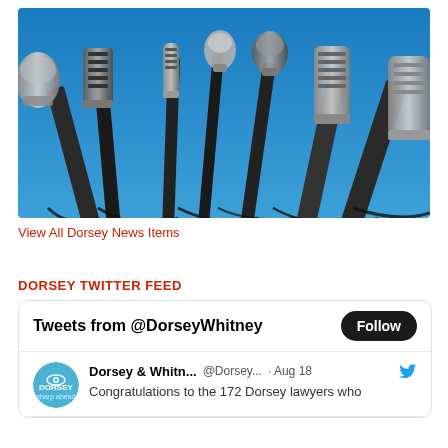[Figure (photo): Multiple press conference microphones on stands against a blue background]
View All Dorsey News Items
DORSEY TWITTER FEED
[Figure (screenshot): Twitter embed widget showing 'Tweets from @DorseyWhitney' with Follow button and a tweet from Dorsey & Whitn... @Dorsey... Aug 18 'Congratulations to the 172 Dorsey lawyers who']
Tweets from @DorseyWhitney
Dorsey & Whitn... @Dorsey... · Aug 18 Congratulations to the 172 Dorsey lawyers who